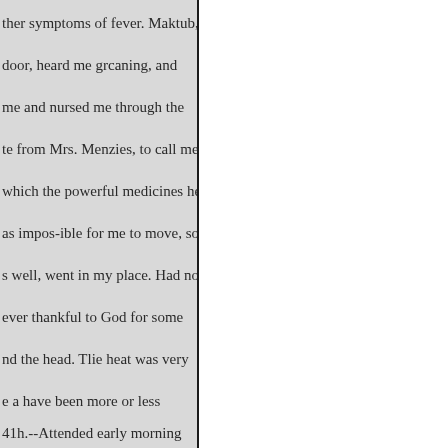ther symptoms of fever. Maktub,
door, heard me grcaning, and
me and nursed me through the
te from Mrs. Menzies, to call me
which the powerful medicines he
as impos-ible for me to move, so
s well, went in my place. Had no
ever thankful to God for some
nd the head. Tlie heat was very
e a have been more or less
41h.--Attended early morning